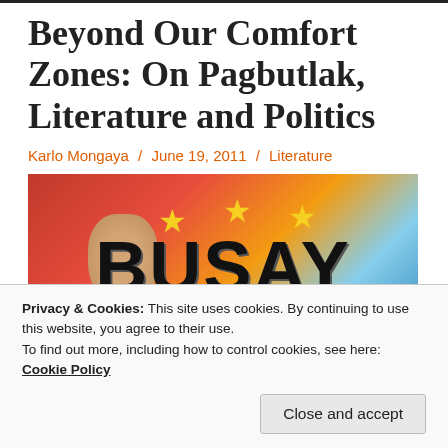Beyond Our Comfort Zones: On Pagbutlak, Literature and Politics
Karlo Mongaya / June 19, 2011 / Literature
[Figure (illustration): Colorful artwork showing a red background with golden stars, a raised fist, and bold text reading BUSAY]
Privacy & Cookies: This site uses cookies. By continuing to use this website, you agree to their use.
To find out more, including how to control cookies, see here: Cookie Policy
Close and accept